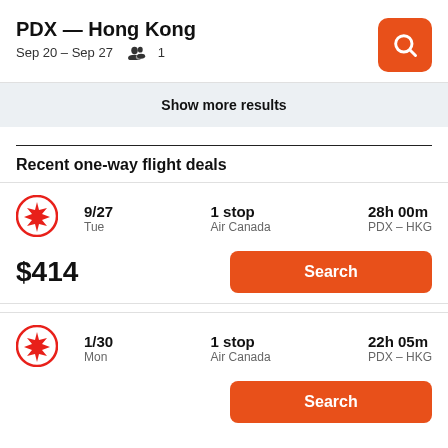PDX — Hong Kong
Sep 20 – Sep 27    👥 1
Show more results
Recent one-way flight deals
9/27 Tue | 1 stop Air Canada | 28h 00m PDX – HKG | $414
1/30 Mon | 1 stop Air Canada | 22h 05m PDX – HKG